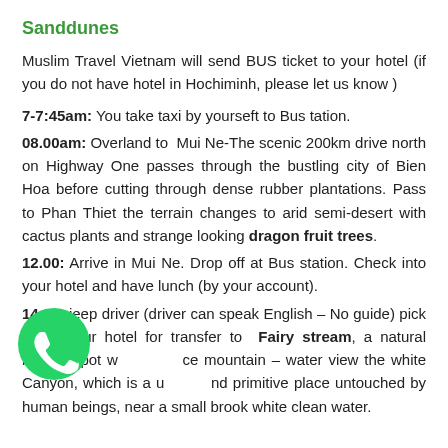Sanddunes
Muslim Travel Vietnam will send BUS ticket to your hotel (if you do not have hotel in Hochiminh, please let us know )
7-7:45am: You take taxi by yourseft to Bus tation.
08.00am: Overland to Mui Ne-The scenic 200km drive north on Highway One passes through the bustling city of Bien Hoa before cutting through dense rubber plantations. Pass to Phan Thiet the terrain changes to arid semi-desert with cactus plants and strange looking dragon fruit trees.
12.00: Arrive in Mui Ne. Drop off at Bus station. Check into your hotel and have lunch (by your account).
14.00: jeep driver (driver can speak English – No guide) pick up at your hotel for transfer to Fairy stream, a natural beauty spot with rice mountain – water view the white Canyon, which is a unique and primitive place untouched by human beings, near a small brook white clean water.
[Figure (logo): WhatsApp green phone icon]